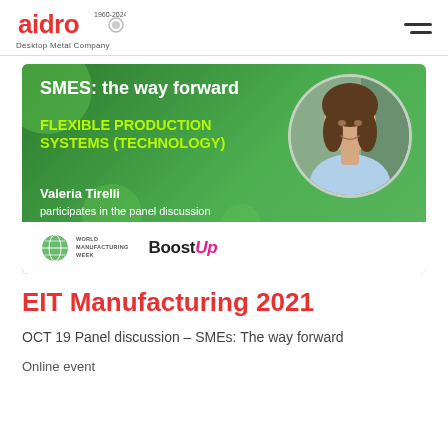[Figure (logo): Aidro logo with 'Desktop Metal Company' subtitle and hamburger menu icon]
[Figure (infographic): Green banner: 'SMES: the way forward' title, 'FLEXIBLE PRODUCTION SYSTEMS (technology)' in yellow-green, 'Valeria Tirelli participates in the panel discussion', circular portrait photo of a woman, World Manufacturing Week and BoostUp logos at bottom]
EIT Manufacturing 2021
OCT 19 Panel discussion - SMEs: The way forward
Online event